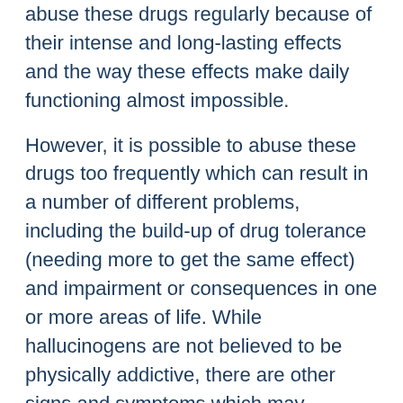abuse these drugs regularly because of their intense and long-lasting effects and the way these effects make daily functioning almost impossible.
However, it is possible to abuse these drugs too frequently which can result in a number of different problems, including the build-up of drug tolerance (needing more to get the same effect) and impairment or consequences in one or more areas of life. While hallucinogens are not believed to be physically addictive, there are other signs and symptoms which may indicate a person has developed an unhealthy pattern of abuse or dependence, including: [4]